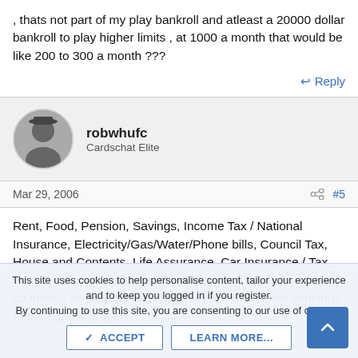, thats not part of my play bankroll and atleast a 20000 dollar bankroll to play higher limits , at 1000 a month that would be like 200 to 300 a month ???
↩ Reply
robwhufc
Cardschat Elite
Mar 29, 2006  #5
Rent, Food, Pension, Savings, Income Tax / National Insurance, Electricity/Gas/Water/Phone bills, Council Tax, House and Contents, Life Assurance, Car Insurance / Tax, Petrol? I earn a fair wage, but that doesn't cover the above, so there's no way in hell I could cover it with Poker winnings. Please, get a proper
This site uses cookies to help personalise content, tailor your experience and to keep you logged in if you register.
By continuing to use this site, you are consenting to our use of cookies.
✓ ACCEPT   LEARN MORE...